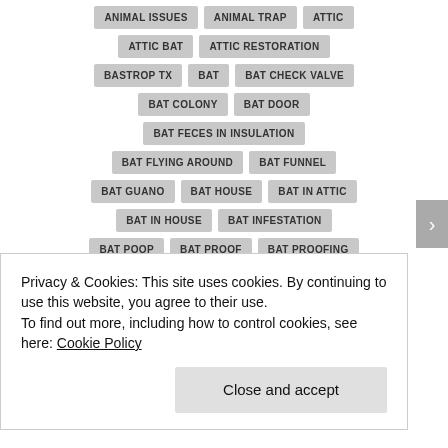ANIMAL ISSUES
ANIMAL TRAP
ATTIC
ATTIC BAT
ATTIC RESTORATION
BASTROP TX
BAT
BAT CHECK VALVE
BAT COLONY
BAT DOOR
BAT FECES IN INSULATION
BAT FLYING AROUND
BAT FUNNEL
BAT GUANO
BAT HOUSE
BAT IN ATTIC
BAT IN HOUSE
BAT INFESTATION
BAT POOP
BAT PROOF
BAT PROOFING
BAT SCAT
BAT SCREENING
BAT SHIT
BATS
BEAVER
BEE CAVE TX
BELTON TX
Privacy & Cookies: This site uses cookies. By continuing to use this website, you agree to their use.
To find out more, including how to control cookies, see here: Cookie Policy
Close and accept